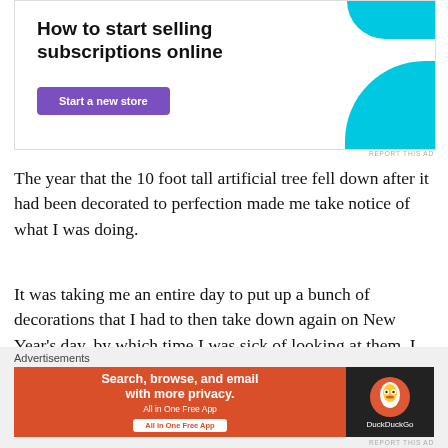[Figure (infographic): Advertisement banner: 'How to start selling subscriptions online' with a purple 'Start a new store' button and teal decorative shapes on right]
The year that the 10 foot tall artificial tree fell down after it had been decorated to perfection made me take notice of what I was doing.
It was taking me an entire day to put up a bunch of decorations that I had to then take down again on New Year's day, by which time I was sick of looking at them. I decided to streamline a bit.
I got rid of the Santa collection, the four-metre...
[Figure (infographic): DuckDuckGo advertisement: 'Search, browse, and email with more privacy. All in One Free App' on orange background with DuckDuckGo logo on dark background]